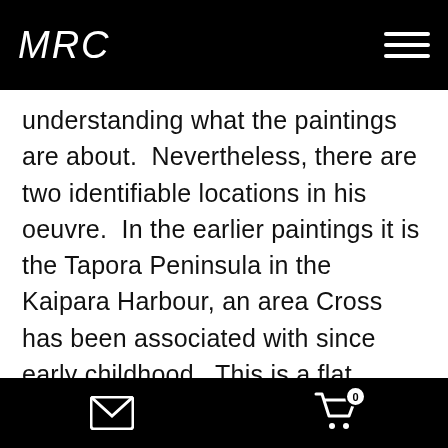MRC
understanding what the paintings are about.  Nevertheless, there are two identifiable locations in his oeuvre.  In the earlier paintings it is the Tapora Peninsula in the Kaipara Harbour, an area Cross has been associated with since early childhood.  This is a flat space, where the difference between land and sea can be measured in feet and inches.  Erosion takes a little land here, accretion adds a little there.  The landscape becomes a metaphor for life.
Far more dramatic, if no more grand, is the